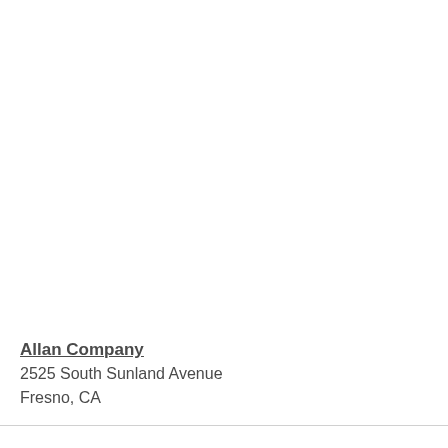Allan Company
2525 South Sunland Avenue
Fresno, CA